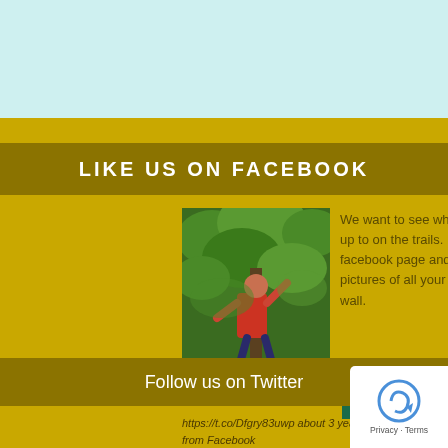LIKE US ON FACEBOOK
[Figure (photo): Person climbing or hanging from a tree/pole in a forest setting, wearing a red shirt]
We want to see what you get up to on the trails. Like our facebook page and post pictures of all your day to our wall.
FIND OUT MORE
Follow us on Twitter
https://t.co/Dfgry83uwp about 3 years ago from Facebook